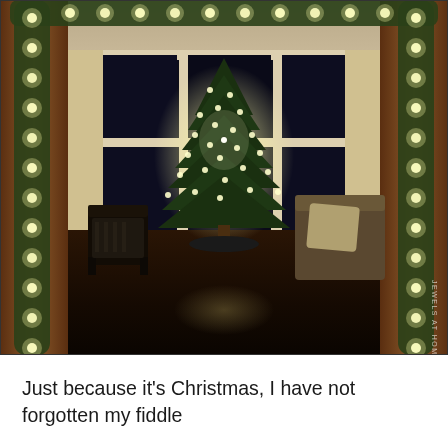[Figure (photo): Indoor nighttime photo of a living room viewed through a doorway decorated with garland and string lights on both sides and across the top. In the center background is a brightly lit Christmas tree in front of large windows. The room has dark hardwood floors, chairs on the left, a sofa with pillow on the right, and white curtains framing the windows. A watermark reading 'JEWELS AT HOME' appears vertically on the right edge.]
Just because it's Christmas, I have not forgotten my fiddle